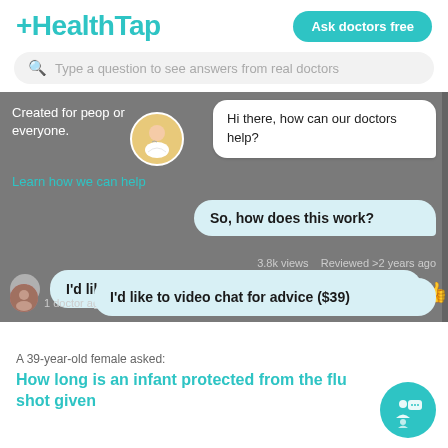[Figure (screenshot): HealthTap logo in teal color on top left]
Ask doctors free
Type a question to see answers from real doctors
[Figure (screenshot): HealthTap chat interface screenshot showing a doctor avatar, chat bubbles: 'Hi there, how can our doctors help?', 'So, how does this work?', 'I'd like a quick text answer to a question (free)', 'I'd like to video chat for advice ($39)', views: 3.8k views, Reviewed >2 years ago, 1 doctor agrees]
Created for peop... or help? ...s everyone.
Learn how we can help
Hi there, how can our doctors help?
So, how does this work?
3.8k views   Reviewed >2 years ago
I'd like a quick text answer to a question (free)
1 doctor agrees
I'd like to video chat for advice ($39)
A 39-year-old female asked:
How long is an infant protected from the flu shot gi... ...to everyone is in the 3rd trimester? Since the f...